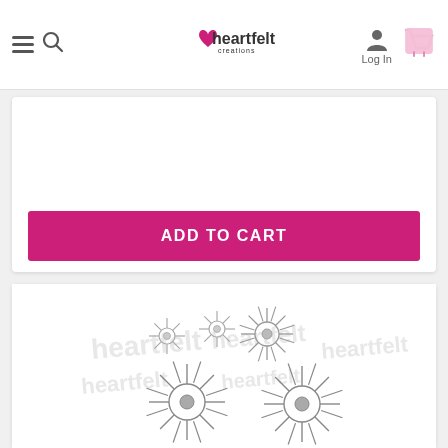Heartfelt Creations - Log In
HCDI-7257
$29.99
ADD TO CART
[Figure (photo): Heartfelt Creations product image showing multiple daisy flower stamp illustrations arranged in a group, with watermark logos in the background]